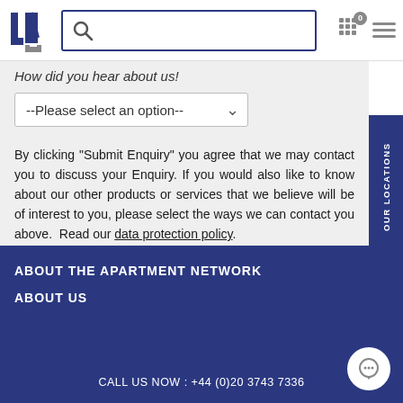JN logo | Search box | Icons: favorites (0), hamburger menu
How did you hear about us!
--Please select an option--
By clicking "Submit Enquiry" you agree that we may contact you to discuss your Enquiry. If you would also like to know about our other products or services that we believe will be of interest to you, please select the ways we can contact you above.  Read our data protection policy.
SUBMIT YOUR ENQUIRY
ABOUT THE APARTMENT NETWORK | ABOUT US | CALL US NOW : +44 (0)20 3743 7336